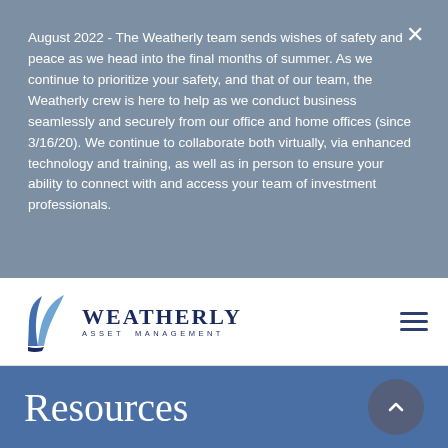August 2022 - The Weatherly team sends wishes of safety and peace as we head into the final months of summer. As we continue to prioritize your safety, and that of our team, the Weatherly crew is here to help as we conduct business seamlessly and securely from our office and home offices (since 3/16/20). We continue to collaborate both virtually, via enhanced technology and training, as well as in person to ensure your ability to connect with and access your team of investment professionals.
[Figure (logo): Weatherly Asset Management logo with sail/wave graphic and company name]
Resources